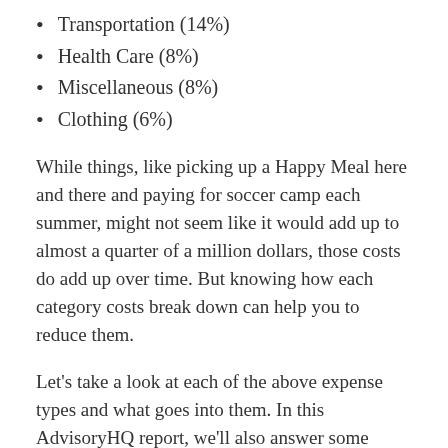Transportation (14%)
Health Care (8%)
Miscellaneous (8%)
Clothing (6%)
While things, like picking up a Happy Meal here and there and paying for soccer camp each summer, might not seem like it would add up to almost a quarter of a million dollars, those costs do add up over time. But knowing how each category costs break down can help you to reduce them.
Let’s take a look at each of the above expense types and what goes into them. In this AdvisoryHQ report, we’ll also answer some important family planning questions like, “Is the per child cost the same if you have more than one kid?” and “Does the region or state I live in change the costs of raising a child?”